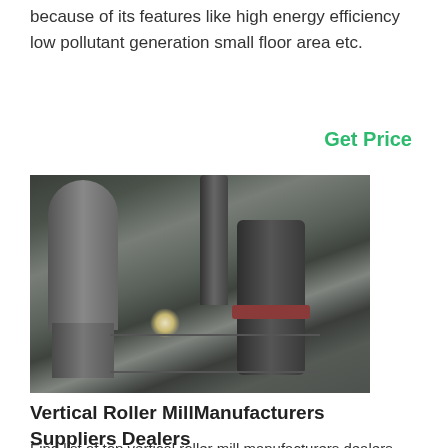because of its features like high energy efficiency low pollutant generation small floor area etc.
Get Price
[Figure (photo): Industrial vertical roller mill machinery inside a large factory building, showing large cylindrical silos, pipes, scaffolding, and mechanical equipment in grey tones.]
Vertical Roller MillManufacturers Suppliers Dealers
Find list of top vertical roller mill manufacturers dealers